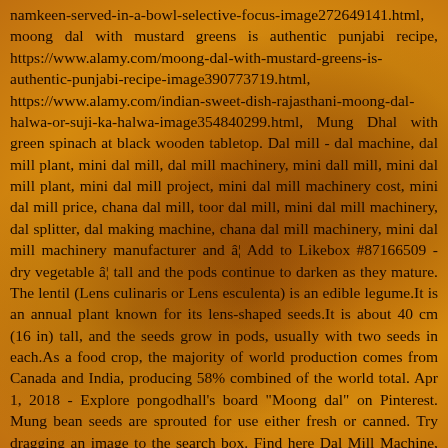namkeen-served-in-a-bowl-selective-focus-image272649141.html, moong dal with mustard greens is authentic punjabi recipe, https://www.alamy.com/moong-dal-with-mustard-greens-is-authentic-punjabi-recipe-image390773719.html, https://www.alamy.com/indian-sweet-dish-rajasthani-moong-dal-halwa-or-suji-ka-halwa-image354840299.html, Mung Dhal with green spinach at black wooden tabletop. Dal mill - dal machine, dal mill plant, mini dal mill, dal mill machinery, mini dall mill, mini dal mill plant, mini dal mill project, mini dal mill machinery cost, mini dal mill price, chana dal mill, toor dal mill, mini dal mill machinery, dal splitter, dal making machine, chana dal mill machinery, mini dal mill machinery manufacturer and â¦ Add to Likebox #87166509 - dry vegetable â¦ tall and the pods continue to darken as they mature. The lentil (Lens culinaris or Lens esculenta) is an edible legume.It is an annual plant known for its lens-shaped seeds.It is about 40 cm (16 in) tall, and the seeds grow in pods, usually with two seeds in each.As a food crop, the majority of world production comes from Canada and India, producing 58% combined of the world total. Apr 1, 2018 - Explore pongodhall's board "Moong dal" on Pinterest. Mung bean seeds are sprouted for use either fresh or canned. Try dragging an image to the search box. Find here Dal Mill Machine, Dal Mill manufacturers, suppliers & exporters in India. The green gram (Vigna radiata) is actually a plant species in the legume family. 9,430 moong stock photos, vectors, and illustrations are available